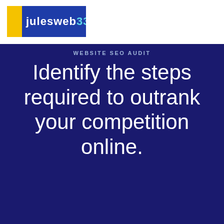[Figure (logo): JulesWebb logo with yellow stripe on left and dark blue background with white and cyan text reading 'julesweb33']
WEBSITE SEO AUDIT
Identify the steps required to outrank your competition online.